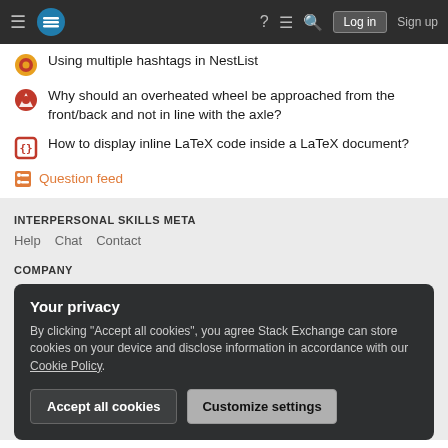Stack Exchange navigation header with hamburger menu, logo, help, chat, search icons, Log in and Sign up buttons
Using multiple hashtags in NestList
Why should an overheated wheel be approached from the front/back and not in line with the axle?
How to display inline LaTeX code inside a LaTeX document?
Question feed
INTERPERSONAL SKILLS META
Help  Chat  Contact
COMPANY
Your privacy
By clicking "Accept all cookies", you agree Stack Exchange can store cookies on your device and disclose information in accordance with our Cookie Policy.
Accept all cookies  Customize settings